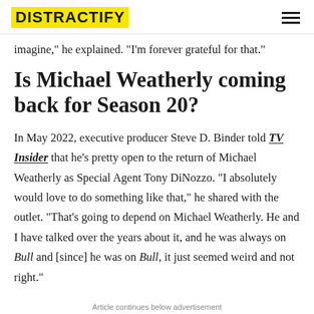DISTRACTIFY
imagine," he explained. "I'm forever grateful for that."
Is Michael Weatherly coming back for Season 20?
In May 2022, executive producer Steve D. Binder told TV Insider that he's pretty open to the return of Michael Weatherly as Special Agent Tony DiNozzo. "I absolutely would love to do something like that," he shared with the outlet. "That's going to depend on Michael Weatherly. He and I have talked over the years about it, and he was always on Bull and [since] he was on Bull, it just seemed weird and not right."
Article continues below advertisement